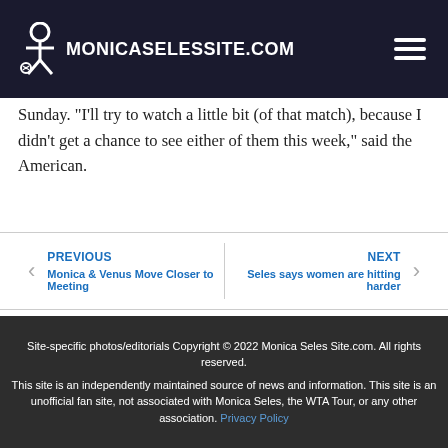[Figure (logo): Monica Seles Site logo with tennis player icon and text MONICASELESSITE.COM on dark navy background with hamburger menu icon]
Sunday. "I'll try to watch a little bit (of that match), because I didn't get a chance to see either of them this week," said the American.
PREVIOUS
Monica & Venus Move Closer to Meeting
NEXT
Seles says women are hitting harder
Site-specific photos/editorials Copyright © 2022 Monica Seles Site.com. All rights reserved.
This site is an independently maintained source of news and information. This site is an unofficial fan site, not associated with Monica Seles, the WTA Tour, or any other association. Privacy Policy